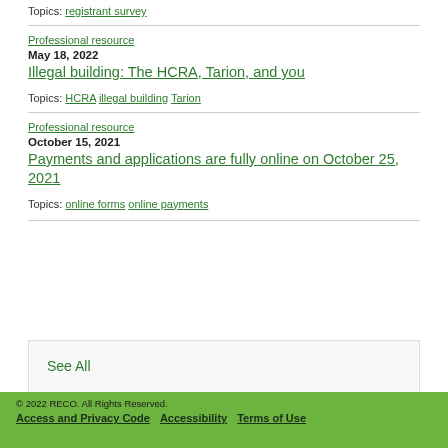Topics: registrant survey
Professional resource
May 18, 2022
Illegal building: The HCRA, Tarion, and you
Topics: HCRA  illegal building  Tarion
Professional resource
October 15, 2021
Payments and applications are fully online on October 25, 2021
Topics: online forms  online payments
See All
© 2022 RECO. All Rights Reserved. Access and Privacy Code  Accessibility  Terms of Use